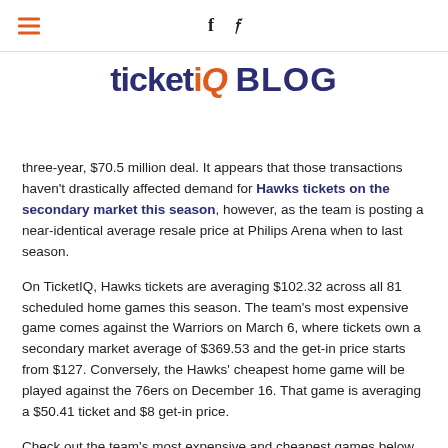≡  f  𝕥
ticketIQ BLOG
three-year, $70.5 million deal. It appears that those transactions haven't drastically affected demand for Hawks tickets on the secondary market this season, however, as the team is posting a near-identical average resale price at Philips Arena when to last season.
On TicketIQ, Hawks tickets are averaging $102.32 across all 81 scheduled home games this season. The team's most expensive game comes against the Warriors on March 6, where tickets own a secondary market average of $369.53 and the get-in price starts from $127. Conversely, the Hawks' cheapest home game will be played against the 76ers on December 16. That game is averaging a $50.41 ticket and $8 get-in price.
Check out the team's most expensive and cheapest games below, according to data provided by TicketIQ: